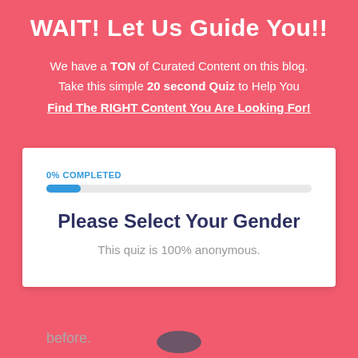WAIT! Let Us Guide You!!
We have a TON of Curated Content on this blog. Take this simple 20 second Quiz to Help You Find The RIGHT Content You Are Looking For!
0% COMPLETED
Please Select Your Gender
This quiz is 100% anonymous.
before.